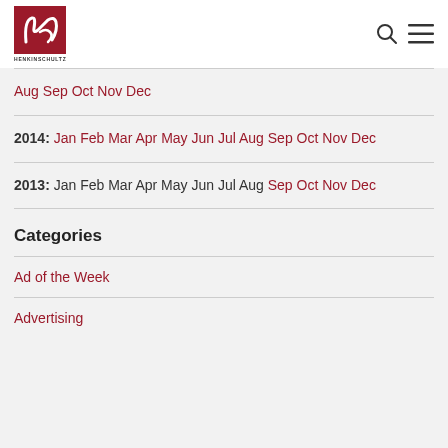[Figure (logo): HenkinSchultz logo: red square with white HS script mark, text HENKINSCHULTZ below]
Aug Sep Oct Nov Dec
2014: Jan Feb Mar Apr May Jun Jul Aug Sep Oct Nov Dec
2013: Jan Feb Mar Apr May Jun Jul Aug Sep Oct Nov Dec
Categories
Ad of the Week
Advertising